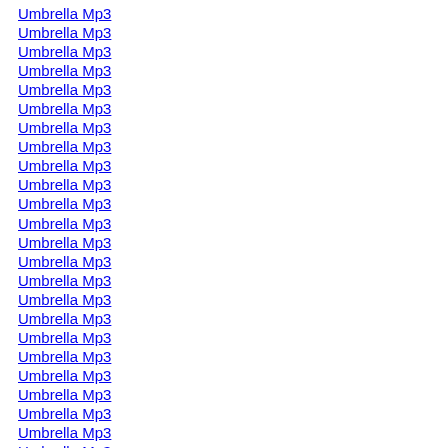Umbrella Mp3
Umbrella Mp3
Umbrella Mp3
Umbrella Mp3
Umbrella Mp3
Umbrella Mp3
Umbrella Mp3
Umbrella Mp3
Umbrella Mp3
Umbrella Mp3
Umbrella Mp3
Umbrella Mp3
Umbrella Mp3
Umbrella Mp3
Umbrella Mp3
Umbrella Mp3
Umbrella Mp3
Umbrella Mp3
Umbrella Mp3
Umbrella Mp3
Umbrella Mp3
Umbrella Mp3
Umbrella Mp3
Umbrella Mp3
Umbrella Mp3
Umbrella Mp3
Umbrella Mp3